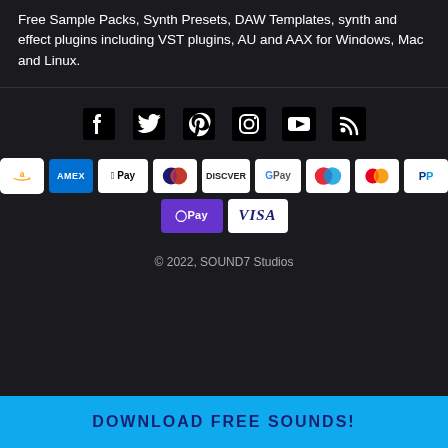Free Sample Packs, Synth Presets, DAW Templates, synth and effect plugins including VST plugins, AU and AAX for Windows, Mac and Linux.
[Figure (infographic): Row of social media icons: Facebook, Twitter, Pinterest, Instagram, YouTube, RSS feed]
[Figure (infographic): Payment method badges row 1: Amazon, Amex, Apple Pay, Diners, Discover, Google Pay, Maestro, Mastercard, PayPal]
[Figure (infographic): Payment method badges row 2: Apple Pay / OPay, Visa]
© 2022, SOUND7 Studios
DOWNLOAD FREE SOUNDS!